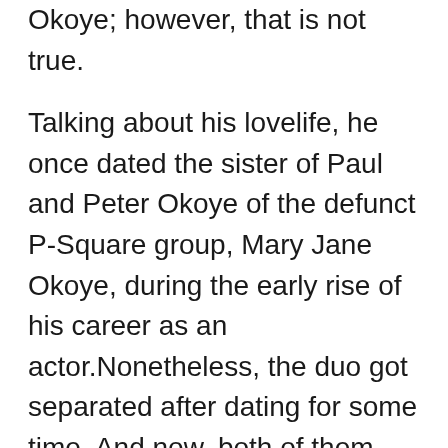Okoye; however, that is not true.
Talking about his lovelife, he once dated the sister of Paul and Peter Okoye of the defunct P-Square group, Mary Jane Okoye, during the early rise of his career as an actor.Nonetheless, the duo got separated after dating for some time. And now, both of them are minding their own business and focusing on their career. According to Buzz Nigeria, Michae has adopted a son he refers to as his Nollywood son; moreover, his name is Chimaso Ejiofor, known as Ozoginbo.
On the other side, Mary Jane Okoye got wedded to Nollywood actor Emma Emordi